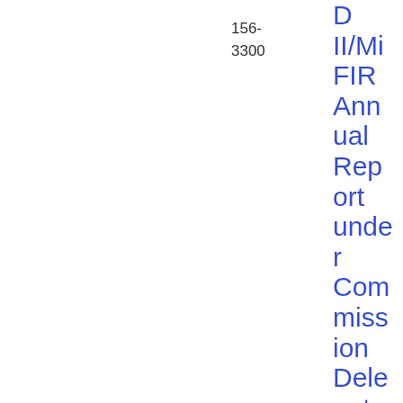156-3300
D II/MiFIR Annual Report under Commission Delegated Regulation (EU) 2017/583 (RTS 2)
Report
47
7.23 KB